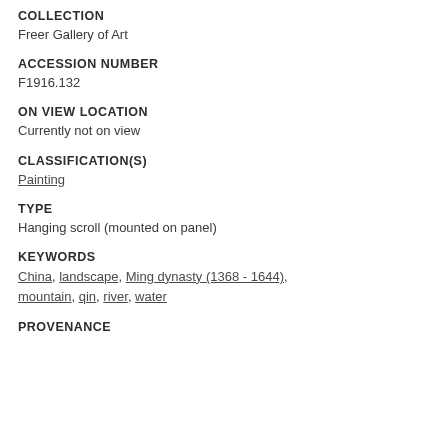COLLECTION
Freer Gallery of Art
ACCESSION NUMBER
F1916.132
ON VIEW LOCATION
Currently not on view
CLASSIFICATION(S)
Painting
TYPE
Hanging scroll (mounted on panel)
KEYWORDS
China, landscape, Ming dynasty (1368 - 1644), mountain, qin, river, water
PROVENANCE